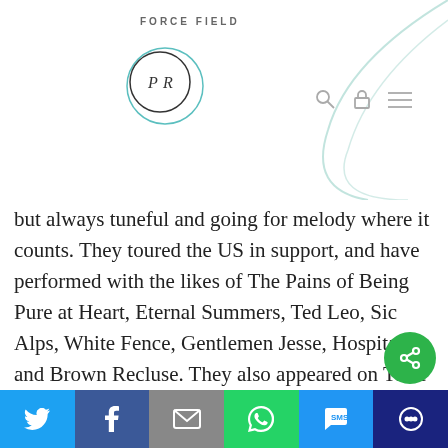FORCE FIELD
but always tuneful and going for melody where it counts. They toured the US in support, and have performed with the likes of The Pains of Being Pure at Heart, Eternal Summers, Ted Leo, Sic Alps, White Fence, Gentlemen Jesse, Hospitality, and Brown Recluse. They also appeared on Terre T's Cherry Blossom Clinic. In 2013 they released a follow-up 7", "Tie Dye" and contributed a track to Esopus Magazine alongside artists like Jens
Twitter | Facebook | Email | WhatsApp | SMS | More